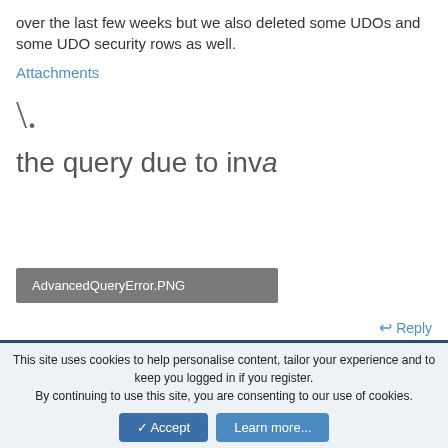over the last few weeks but we also deleted some UDOs and some UDO security rows as well.
Attachments
[Figure (screenshot): Partial thumbnail showing a character resembling a cropped image icon]
the query due to inva
[Figure (screenshot): Attachment file label: AdvancedQueryError.PNG on grey background]
Reply
This site uses cookies to help personalise content, tailor your experience and to keep you logged in if you register.
By continuing to use this site, you are consenting to our use of cookies.